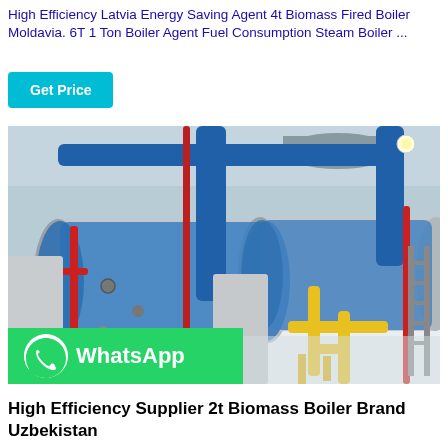High Efficiency Latvia Energy Saving Agent 4t Biomass Fired Boiler Moldavia. 6T 1 Ton Boiler Agent Fuel Consumption Steam Boiler ...
Get Price
[Figure (photo): Industrial boiler room with two large cylindrical steam boilers wrapped in blue insulation, with blue, red, and yellow pipes connecting them. The facility has a white floor and light-colored walls.]
WhatsApp
High Efficiency Supplier 2t Biomass Boiler Brand Uzbekistan